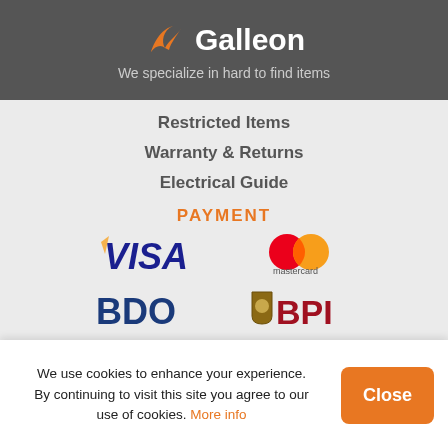[Figure (logo): Galleon logo with orange bird/flame icon and white text 'Galleon' on dark gray background]
We specialize in hard to find items
Restricted Items
Warranty & Returns
Electrical Guide
PAYMENT
[Figure (logo): VISA logo in blue italic bold text with gold chevron]
[Figure (logo): Mastercard logo: two overlapping circles red and orange with 'mastercard' text]
[Figure (logo): BDO logo in dark blue bold text]
[Figure (logo): BPI logo with shield icon and red bold text]
[Figure (logo): dragonpay logo with flame/dragon icon]
[Figure (logo): PayPal logo with blue P icon and blue/dark blue text]
We use cookies to enhance your experience. By continuing to visit this site you agree to our use of cookies. More info